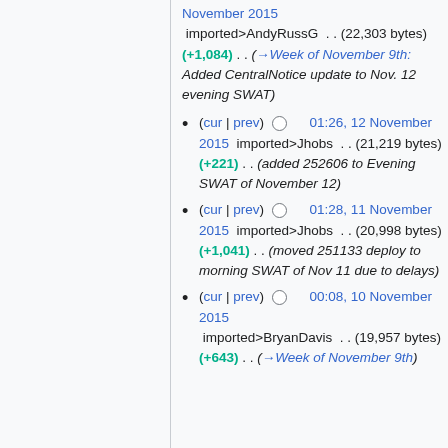November 2015 imported>AndyRussG . . (22,303 bytes) (+1,084) . . (→Week of November 9th: Added CentralNotice update to Nov. 12 evening SWAT)
(cur | prev) 01:26, 12 November 2015 imported>Jhobs . . (21,219 bytes) (+221) . . (added 252606 to Evening SWAT of November 12)
(cur | prev) 01:28, 11 November 2015 imported>Jhobs . . (20,998 bytes) (+1,041) . . (moved 251133 deploy to morning SWAT of Nov 11 due to delays)
(cur | prev) 00:08, 10 November 2015 imported>BryanDavis . . (19,957 bytes) (+643) . . (→Week of November 9th)